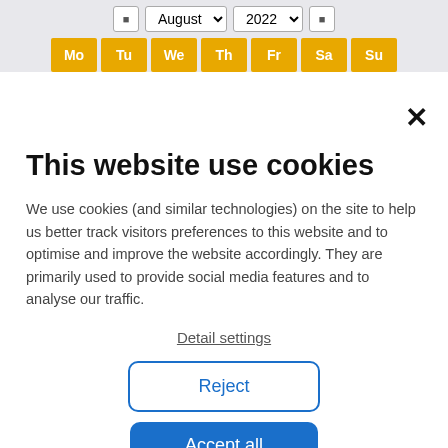[Figure (screenshot): Calendar widget header showing month/year dropdowns (August 2022) with navigation arrows, and weekday headers Mo Tu We Th Fr Sa Su in yellow/gold background]
×
This website use cookies
We use cookies (and similar technologies) on the site to help us better track visitors preferences to this website and to optimise and improve the website accordingly. They are primarily used to provide social media features and to analyse our traffic.
Detail settings
Reject
Accept all